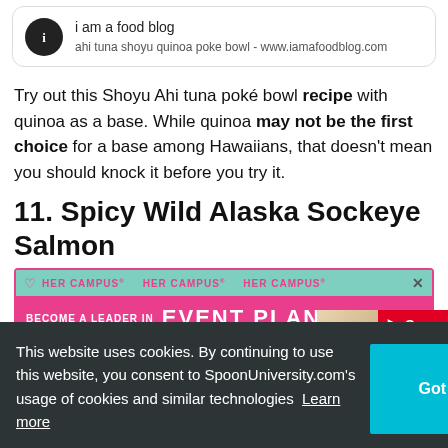[Figure (other): Source card: i am a food blog — ahi tuna shoyu quinoa poke bowl - www.iamafoodblog.com]
Try out this Shoyu Ahi tuna poké bowl recipe with quinoa as a base. While quinoa may not be the first choice for a base among Hawaiians, that doesn't mean you should knock it before you try it.
11. Spicy Wild Alaska Sockeye Salmon
[Figure (other): HER CAMPUS advertisement banner: BECOME A LEADER IN EVENT PLANNING]
This website uses cookies. By continuing to use this website, you consent to SpoonUniversity.com's usage of cookies and similar technologies Learn more
[Figure (photo): Food photo partially visible on right side — plate with food]
[Figure (photo): Food photo strip at bottom of page]